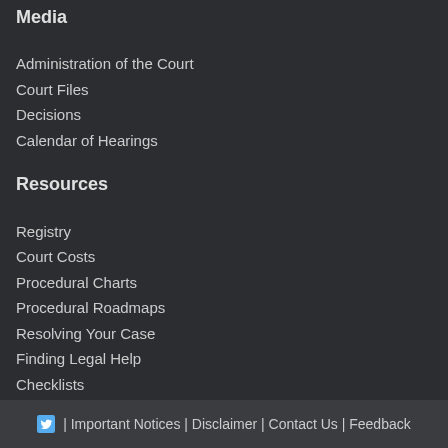Media
Administration of the Court
Court Files
Decisions
Calendar of Hearings
Resources
Registry
Court Costs
Procedural Charts
Procedural Roadmaps
Resolving Your Case
Finding Legal Help
Checklists
| Important Notices | Disclaimer | Contact Us | Feedback